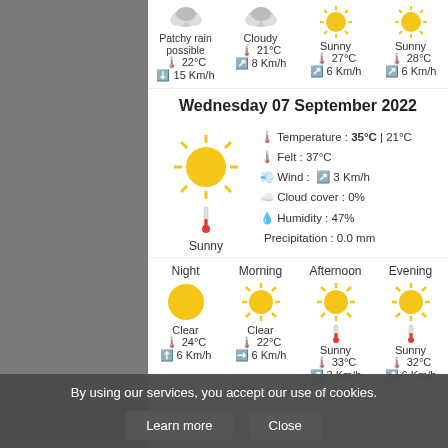[Figure (infographic): Weather forecast screenshot showing Wednesday 07 September 2022 weather details with icons for sunny conditions, temperature 35°C/21°C, felt 37°C, wind 3 Km/h, cloud cover 0%, humidity 47%, precipitation 0.0mm, and period forecasts for Night, Morning, Afternoon, Evening]
Wednesday 07 September 2022
Temperature : 35°C | 21°C
Felt : 37°C
Wind : 3 Km/h
Cloud cover : 0%
Humidity : 47%
Precipitation : 0.0 mm
Night | Morning | Afternoon | Evening
Clear 24°C 6 Km/h | Clear 22°C 6 Km/h | Sunny 33°C 3 Km/h | Sunny 32°C 6 Km/h
Patchy rain possible 22°C 15 Km/h | Cloudy 21°C 8 Km/h | Sunny 27°C 6 Km/h | Sunny 28°C 6 Km/h
By using our services, you accept our use of cookies.